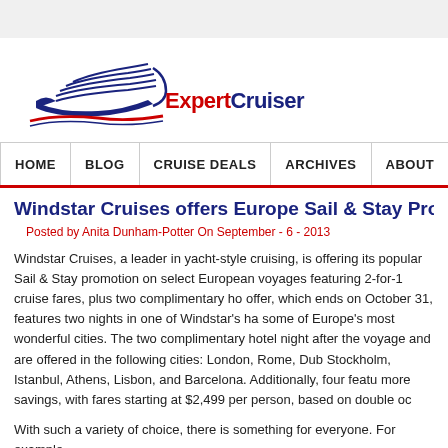[Figure (logo): ExpertCruiser logo with cruise ship graphic in blue and red, text reads ExpertCruiser]
HOME | BLOG | CRUISE DEALS | ARCHIVES | ABOUT
Windstar Cruises offers Europe Sail & Stay Promo
Posted by Anita Dunham-Potter On September - 6 - 2013
Windstar Cruises, a leader in yacht-style cruising, is offering its popular Sail & Stay promotion on select European voyages featuring 2-for-1 cruise fares, plus two complimentary hotel nights. The offer, which ends on October 31, features two nights in one of Windstar's hand-picked hotels in some of Europe's most wonderful cities. The two complimentary hotel nights can be taken before or after the voyage and are offered in the following cities: London, Rome, Dublin, Copenhagen, Stockholm, Istanbul, Athens, Lisbon, and Barcelona. Additionally, four featured sailings offer even more savings, with fares starting at $2,499 per person, based on double occupancy.
With such a variety of choice, there is something for everyone. For example